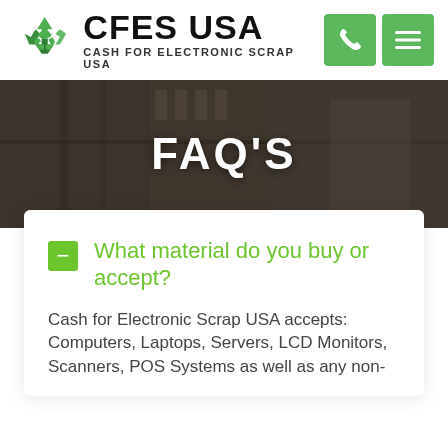[Figure (logo): CFES USA logo with recycling icon, text 'CFES USA' and 'CASH FOR ELECTRONIC SCRAP USA', plus green phone and menu buttons]
[Figure (photo): Background photo of a building/warehouse interior with dark overlay, showing 'FAQ'S' as hero banner text]
FAQ'S
What material do you buy or accept?
Cash for Electronic Scrap USA accepts: Computers, Laptops, Servers, LCD Monitors, Scanners, POS Systems as well as any non-